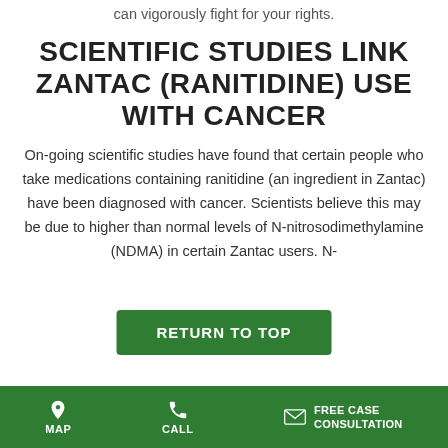can vigorously fight for your rights.
SCIENTIFIC STUDIES LINK ZANTAC (RANITIDINE) USE WITH CANCER
On-going scientific studies have found that certain people who take medications containing ranitidine (an ingredient in Zantac) have been diagnosed with cancer. Scientists believe this may be due to higher than normal levels of N-nitrosodimethylamine (NDMA) in certain Zantac users. N-
MAP  CALL  FREE CASE CONSULTATION